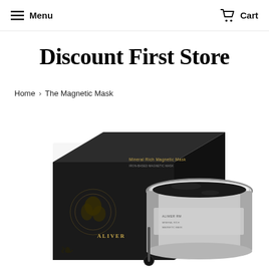Menu   Cart
Discount First Store
Home > The Magnetic Mask
[Figure (photo): Product photo showing a black luxury cosmetic box labeled 'ALIVER Mineral Rich Magnetic Mask' next to an open silver jar of dark black magnetic mask product with a small applicator wand in the foreground, on white background.]